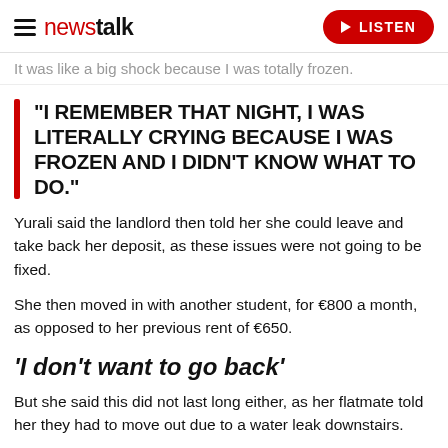newstalk | LISTEN
It was like a big shock because I was totally frozen.
"I REMEMBER THAT NIGHT, I WAS LITERALLY CRYING BECAUSE I WAS FROZEN AND I DIDN'T KNOW WHAT TO DO."
Yurali said the landlord then told her she could leave and take back her deposit, as these issues were not going to be fixed.
She then moved in with another student, for €800 a month, as opposed to her previous rent of €650.
'I don't want to go back'
But she said this did not last long either, as her flatmate told her they had to move out due to a water leak downstairs.